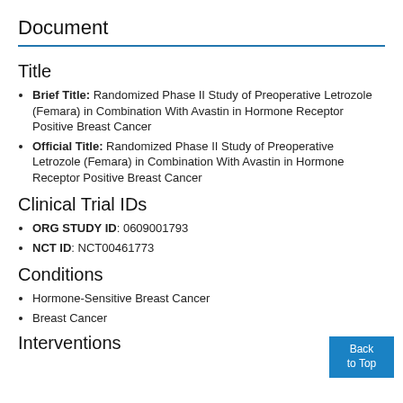Document
Title
Brief Title: Randomized Phase II Study of Preoperative Letrozole (Femara) in Combination With Avastin in Hormone Receptor Positive Breast Cancer
Official Title: Randomized Phase II Study of Preoperative Letrozole (Femara) in Combination With Avastin in Hormone Receptor Positive Breast Cancer
Clinical Trial IDs
ORG STUDY ID: 0609001793
NCT ID: NCT00461773
Conditions
Hormone-Sensitive Breast Cancer
Breast Cancer
Interventions